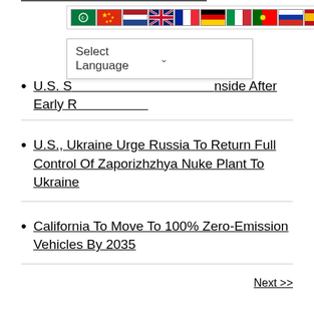[Figure (screenshot): Language selection toolbar with flag icons for Arabic, Chinese, Dutch, English, French, German, Italian, Portuguese, Russian, Spanish]
[Figure (screenshot): Select Language dropdown menu overlay]
U.S. S... Inside After Early R...
U.S., Ukraine Urge Russia To Return Full Control Of Zaporizhzhya Nuke Plant To Ukraine
California To Move To 100% Zero-Emission Vehicles By 2035
Next >>